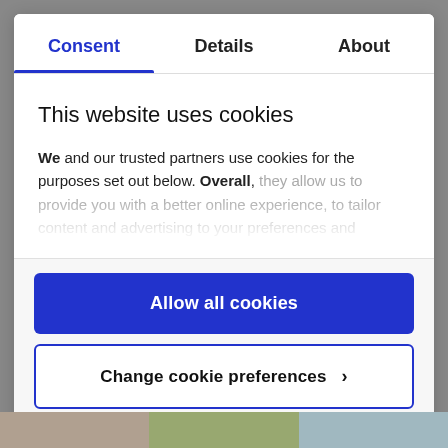Consent | Details | About
This website uses cookies
We and our trusted partners use cookies for the purposes set out below. Overall, they allow us to provide you with a better online experience, to tailor content and advertising to your interests…
Allow all cookies
Change cookie preferences >
Powered by Cookiebot by Usercentrics